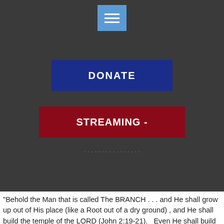[Figure (screenshot): Dark grey navigation header with a blue hamburger menu icon button at top center]
[Figure (screenshot): Blue DONATE button centered on dark background]
[Figure (screenshot): Dark red STREAMING - button centered on dark background]
"Behold the Man that is called The BRANCH . . . and He shall grow up out of His place (like a Root out of a dry ground) , and He shall build the temple of the LORD (John 2:19-21).   Even He shall build the Temple of the LORD, and He shall bear the glory. ...
Read More »
Mystical Medicine –